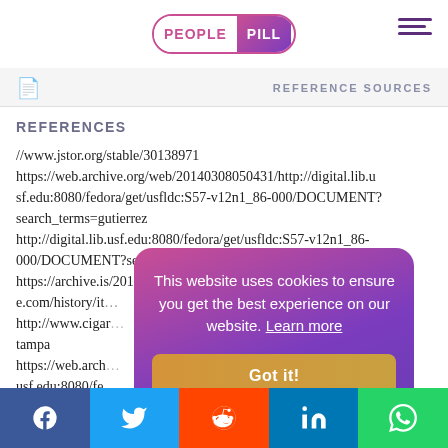PEOPLE PILL
REFERENCE SOURCES
REFERENCES
//www.jstor.org/stable/30138971
https://web.archive.org/web/20140308050431/http://digital.lib.usf.edu:8080/fedora/get/usfldc:S57-v12n1_86-000/DOCUMENT?search_terms=gutierrez
http://digital.lib.usf.edu:8080/fedora/get/usfldc:S57-v12n1_86-000/DOCUMENT?search_terms=gutierrez
https://archive.is/20130119060956/http://www.cigarcitymagazine.com/history/it
http://www.cigar...tampa
https://web.arch...usf.edu:8080/fe...search_terms=gu...
http://digital.lib....000/DOCUMENT...
This website uses cookies to ensure you get the best experience on our website. Learn more
Facebook Twitter Reddit LinkedIn WhatsApp